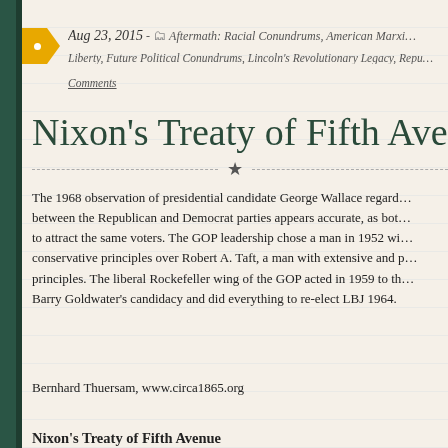Aug 23, 2015 - Aftermath: Racial Conundrums, American Marxism, Liberty, Future Political Conundrums, Lincoln's Revolutionary Legacy, Republican Party Comments
Nixon's Treaty of Fifth Avenue
The 1968 observation of presidential candidate George Wallace regarding the difference between the Republican and Democrat parties appears accurate, as both parties attempted to attract the same voters. The GOP leadership chose a man in 1952 with no known conservative principles over Robert A. Taft, a man with extensive and proven conservative principles. The liberal Rockefeller wing of the GOP acted in 1959 to thwart Barry Goldwater's candidacy and did everything to re-elect LBJ 1964.
Bernhard Thuersam, www.circa1865.org
Nixon's Treaty of Fifth Avenue
“When the Republicans met in Chicago the next week, Richard Nixon lock on the presidential nomination than Kennedy’s before the Demo